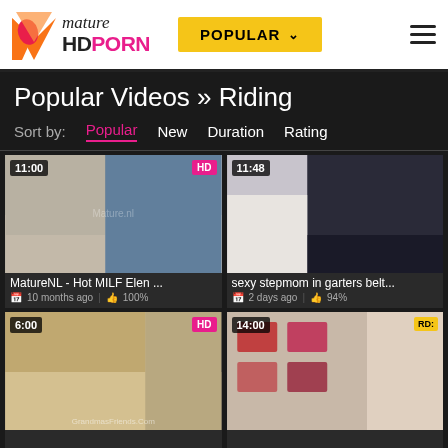mature HD PORN — POPULAR
Popular Videos » Riding
Sort by: Popular  New  Duration  Rating
[Figure (screenshot): Video thumbnail: MatureNL - Hot MILF Elen ... Duration 11:00, HD badge]
MatureNL - Hot MILF Elen ...
10 months ago | 100%
[Figure (screenshot): Video thumbnail: sexy stepmom in garters belt... Duration 11:48]
sexy stepmom in garters belt...
2 days ago | 94%
[Figure (screenshot): Video thumbnail: Duration 6:00, HD badge, GrandmasFriends.Com watermark]
[Figure (screenshot): Video thumbnail: Duration 14:00, RD badge]